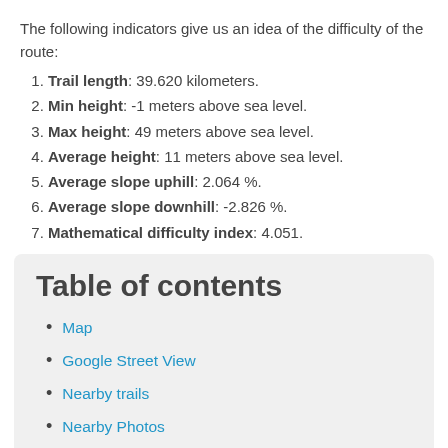The following indicators give us an idea of the difficulty of the route:
Trail length: 39.620 kilometers.
Min height: -1 meters above sea level.
Max height: 49 meters above sea level.
Average height: 11 meters above sea level.
Average slope uphill: 2.064 %.
Average slope downhill: -2.826 %.
Mathematical difficulty index: 4.051.
Table of contents
Map
Google Street View
Nearby trails
Nearby Photos
Comment !